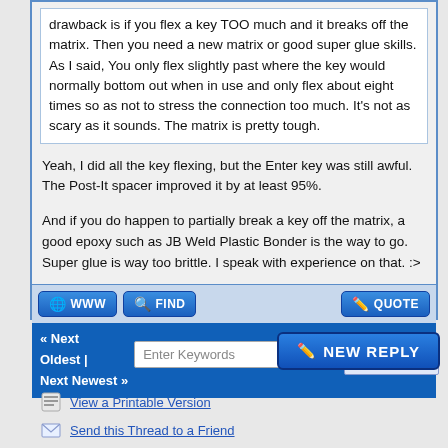drawback is if you flex a key TOO much and it breaks off the matrix. Then you need a new matrix or good super glue skills. As I said, You only flex slightly past where the key would normally bottom out when in use and only flex about eight times so as not to stress the connection too much. It's not as scary as it sounds. The matrix is pretty tough.
Yeah, I did all the key flexing, but the Enter key was still awful. The Post-It spacer improved it by at least 95%.
And if you do happen to partially break a key off the matrix, a good epoxy such as JB Weld Plastic Bonder is the way to go. Super glue is way too brittle. I speak with experience on that. :>
« Next Oldest | Next Newest »
NEW REPLY
View a Printable Version
Send this Thread to a Friend